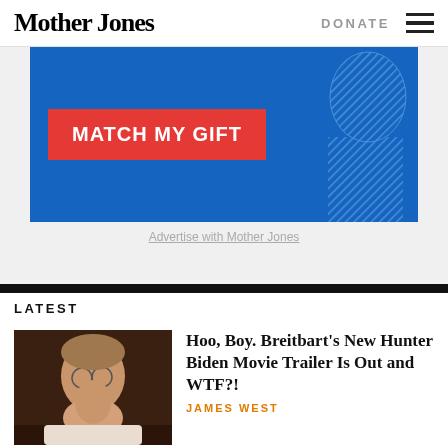Mother Jones | DONATE
[Figure (illustration): Mother Jones donation ad banner: blue background with red button reading 'MATCH MY GIFT' and a hatched figure silhouette on the right]
Advertise with Mother Jones
LATEST
[Figure (photo): Close-up photo of Hunter Biden, man with glasses resting his chin on his hand, dark background]
Hoo, Boy. Breitbart’s New Hunter Biden Movie Trailer Is Out and WTF?!
JAMES WEST